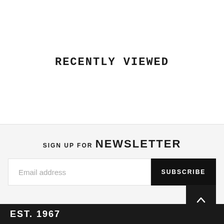RECENTLY VIEWED
SIGN UP FOR NEWSLETTER
Email address
SUBSCRIBE
EST. 1967